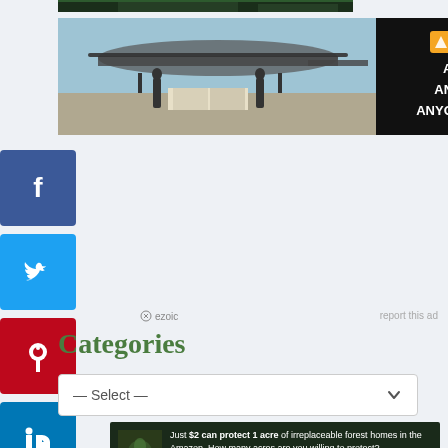[Figure (photo): Partial top of a photo showing a dark scene, cropped at top of page]
[Figure (photo): Advertisement banner: left side shows military personnel loading boxes onto a helicopter on a tarmac; right side is Direct Relief charity ad with text ANYTIME. ANYWHERE. ANYONE IN NEED.]
[Figure (infographic): Social media share buttons: Facebook (blue), Twitter (cyan), Pinterest (red), LinkedIn (blue)]
ezoic  report this ad
Categories
[Figure (screenshot): Dropdown select element with placeholder text '— Select —' and chevron arrow]
[Figure (photo): Advertisement: forest scene with text 'Just $2 can protect 1 acre of irreplaceable forest homes in the Amazon. How many acres are you willing to protect?' with green PROTECT FORESTS NOW button]